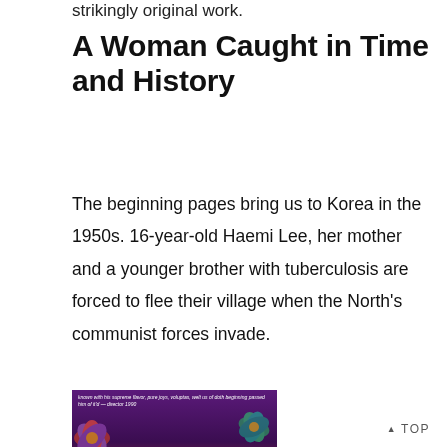strikingly original work.
A Woman Caught in Time and History
The beginning pages bring us to Korea in the 1950s. 16-year-old Haemi Lee, her mother and a younger brother with tuberculosis are forced to flee their village when the North's communist forces invade.
[Figure (photo): Book cover image showing a purple and red floral design with the text 'IF YOU' visible at the bottom, partially cropped]
▲ TOP